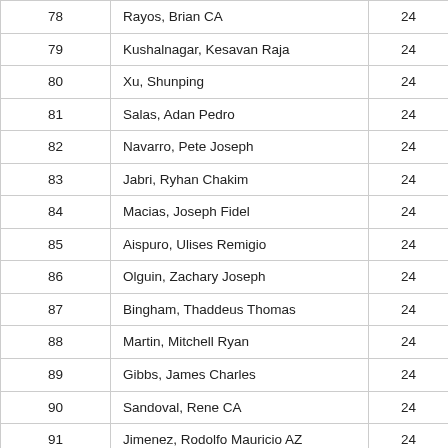| 78 | Rayos, Brian CA | 24 |
| 79 | Kushalnagar, Kesavan Raja | 24 |
| 80 | Xu, Shunping | 24 |
| 81 | Salas, Adan Pedro | 24 |
| 82 | Navarro, Pete Joseph | 24 |
| 83 | Jabri, Ryhan Chakim | 24 |
| 84 | Macias, Joseph Fidel | 24 |
| 85 | Aispuro, Ulises Remigio | 24 |
| 86 | Olguin, Zachary Joseph | 24 |
| 87 | Bingham, Thaddeus Thomas | 24 |
| 88 | Martin, Mitchell Ryan | 24 |
| 89 | Gibbs, James Charles | 24 |
| 90 | Sandoval, Rene CA | 24 |
| 91 | Jimenez, Rodolfo Mauricio AZ | 24 |
| 92 | Silva, Ruben CA | 24 |
| 93 | Du, Brian Thien-Vuong | 24 |
| 94 | Chavez, Cesar Gabriel CA | 23 |
| 95 | Chavez Ochoa, Manlio Porland | 23 |